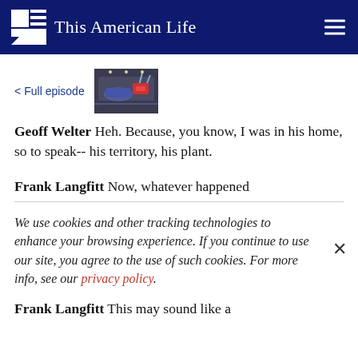This American Life
< Full episode
[Figure (photo): Thumbnail image of a car manufacturing plant interior with robots and car frames on assembly line]
Geoff Welter Heh. Because, you know, I was in his home, so to speak-- his territory, his plant.
Frank Langfitt Now, whatever happened
We use cookies and other tracking technologies to enhance your browsing experience. If you continue to use our site, you agree to the use of such cookies. For more info, see our privacy policy.
Frank Langfitt This may sound like a